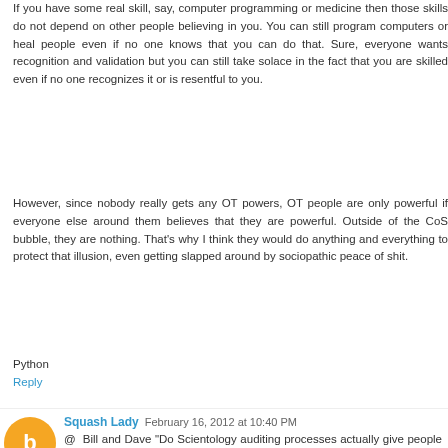If you have some real skill, say, computer programming or medicine then those skills do not depend on other people believing in you. You can still program computers or heal people even if no one knows that you can do that. Sure, everyone wants recognition and validation but you can still take solace in the fact that you are skilled even if no one recognizes it or is resentful to you.
However, since nobody really gets any OT powers, OT people are only powerful if everyone else around them believes that they are powerful. Outside of the CoS bubble, they are nothing. That's why I think they would do anything and everything to protect that illusion, even getting slapped around by sociopathic peace of shit.
Python
Reply
Squash Lady February 16, 2012 at 10:40 PM
@ Bill and Dave "Do Scientology auditing processes actually give people spiritual freedom?"